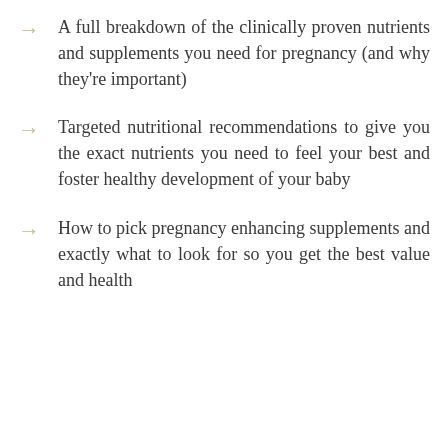A full breakdown of the clinically proven nutrients and supplements you need for pregnancy (and why they're important)
Targeted nutritional recommendations to give you the exact nutrients you need to feel your best and foster healthy development of your baby
How to pick pregnancy enhancing supplements and exactly what to look for so you get the best value and health